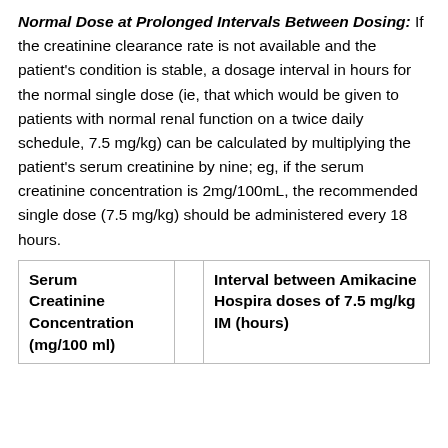Normal Dose at Prolonged Intervals Between Dosing: If the creatinine clearance rate is not available and the patient's condition is stable, a dosage interval in hours for the normal single dose (ie, that which would be given to patients with normal renal function on a twice daily schedule, 7.5 mg/kg) can be calculated by multiplying the patient's serum creatinine by nine; eg, if the serum creatinine concentration is 2mg/100mL, the recommended single dose (7.5 mg/kg) should be administered every 18 hours.
| Serum Creatinine Concentration (mg/100 ml) |  | Interval between Amikacine Hospira doses of 7.5 mg/kg IM (hours) |
| --- | --- | --- |